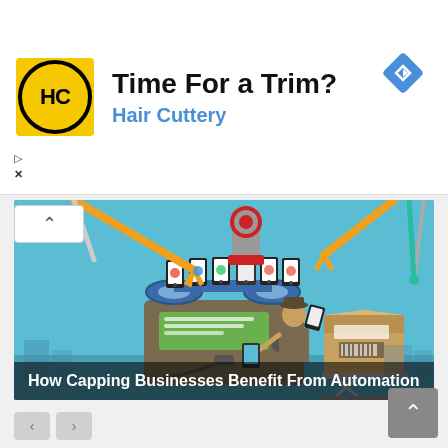[Figure (logo): Hair Cuttery logo: yellow square with black circle containing HC letters]
Time For a Trim?
Hair Cuttery
[Figure (illustration): Animation/infographic illustration of a factory assembly line with robotic arms, smartphones on a conveyor belt, and a person holding a tablet next to boxes labeled 'Open Products'. Title overlay reads: How Capping Businesses Benefit From Automation]
How Capping Businesses Benefit From Automation